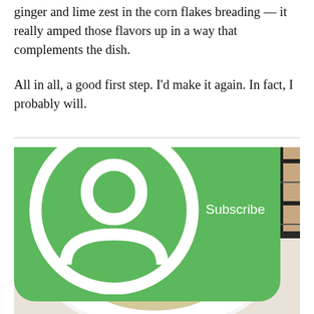ginger and lime zest in the corn flakes breading — it really amped those flavors up in a way that complements the dish.
All in all, a good first step. I'd make it again. In fact, I probably will.
[Figure (photo): A photo of a plated dish: crispy glazed chicken pieces with sesame seeds served over rice on a white plate, on a table. Background shows a plaid-patterned garment and dark furniture. A green Subscribe button overlay is visible in the lower right.]